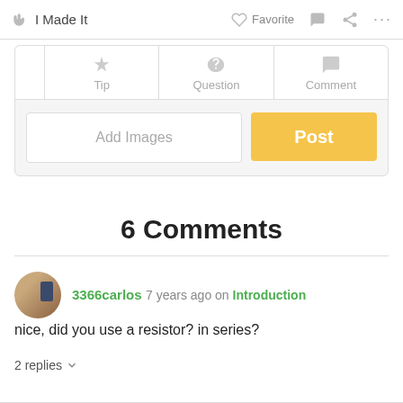I Made It   Favorite   ...
[Figure (screenshot): UI section with Tip, Question, Comment tabs and Add Images / Post buttons]
6 Comments
3366carlos 7 years ago on Introduction
nice, did you use a resistor? in series?
2 replies